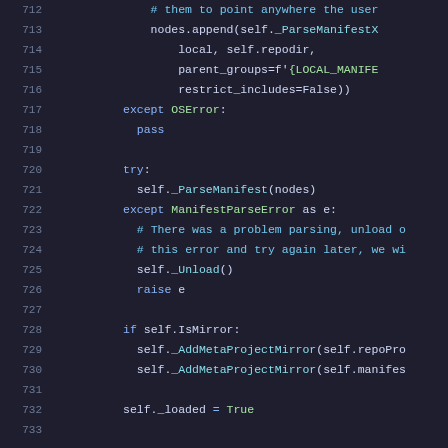[Figure (screenshot): Python source code snippet showing lines 712-733, with syntax highlighting. Dark theme code editor. Lines include try/except blocks, manifest parsing, mirror checks, and self._loaded = True.]